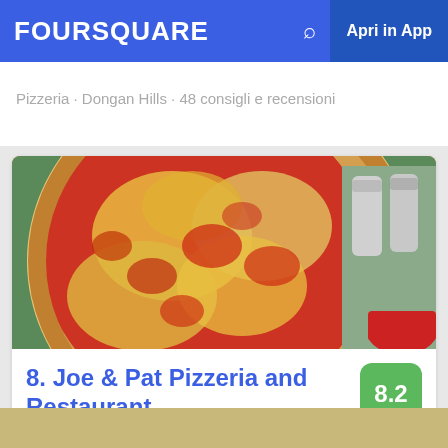FOURSQUARE  Apri in App
Pizzeria · Dongan Hills · 48 consigli e recensioni
[Figure (photo): A close-up photo of a pizza in a pan with red tomato sauce and melted cheese, with salt shakers and a red cup visible in the background on a green table.]
8. Joe & Pat Pizzeria and Restaurant
1758 Victory Blvd, Staten Island, NY
Pizzeria · North Shore · 44 consigli e recensioni